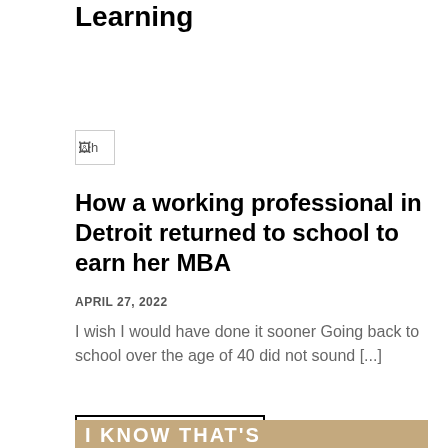Learning
[Figure (photo): Broken image placeholder thumbnail]
How a working professional in Detroit returned to school to earn her MBA
APRIL 27, 2022
I wish I would have done it sooner Going back to school over the age of 40 did not sound [...]
Read More
[Figure (photo): Photo of a classroom sign reading I KNOW THAT'S]